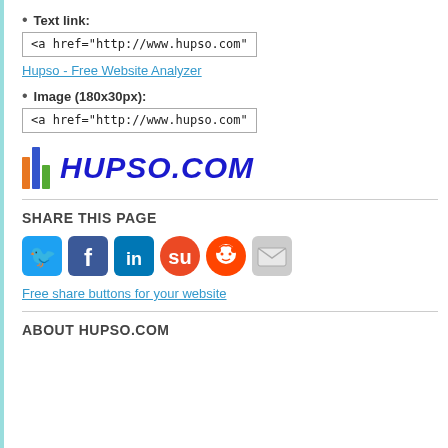Text link:
<a href="http://www.hupso.com"
Hupso - Free Website Analyzer
Image (180x30px):
<a href="http://www.hupso.com"
[Figure (logo): Hupso.com logo with colorful bar chart icon and blue italic bold text HUPSO.COM]
SHARE THIS PAGE
[Figure (infographic): Social media share buttons: Twitter (blue bird), Facebook (blue f), LinkedIn (blue in), StumbleUpon (orange), Reddit (orange alien), Email (envelope)]
Free share buttons for your website
ABOUT HUPSO.COM